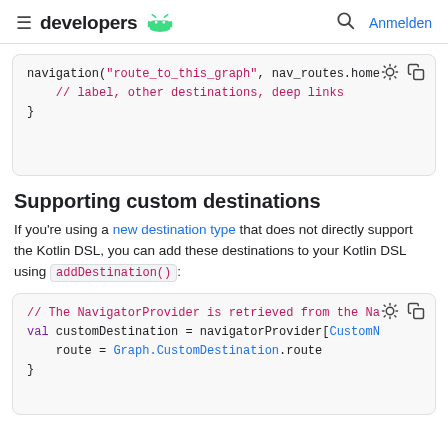≡ developers 🤖  🔍 Anmelden
[Figure (screenshot): Code block showing: navigation("route_to_this_graph", nav_routes.home  // label, other destinations, deep links }]
Supporting custom destinations
If you're using a new destination type that does not directly support the Kotlin DSL, you can add these destinations to your Kotlin DSL using addDestination():
[Figure (screenshot): Code block showing: // The NavigatorProvider is retrieved from the Na  val customDestination = navigatorProvider[CustomN      route = Graph.CustomDestination.route }]